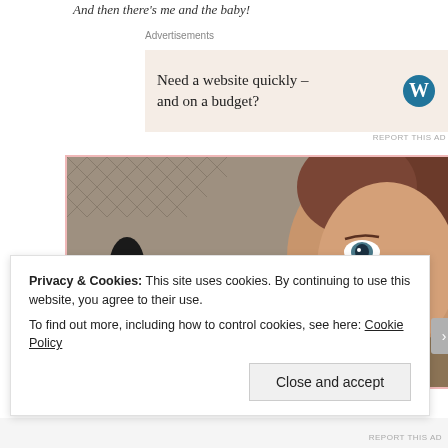And then there's me and the baby!
Advertisements
[Figure (other): Advertisement banner with beige background showing text 'Need a website quickly – and on a budget?' with WordPress logo on right]
[Figure (photo): A woman with brown hair smiling closely at a baby, with a chain-link fence and small dark animals (possibly miniature horses) visible in the background]
Privacy & Cookies: This site uses cookies. By continuing to use this website, you agree to their use.
To find out more, including how to control cookies, see here: Cookie Policy
Close and accept